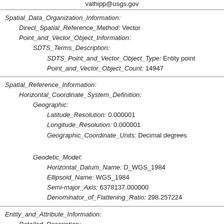vathipp@usgs.gov
Spatial_Data_Organization_Information:
Direct_Spatial_Reference_Method: Vector
Point_and_Vector_Object_Information:
SDTS_Terms_Description:
SDTS_Point_and_Vector_Object_Type: Entity point
Point_and_Vector_Object_Count: 14947
Spatial_Reference_Information:
Horizontal_Coordinate_System_Definition:
Geographic:
Latitude_Resolution: 0.000001
Longitude_Resolution: 0.000001
Geographic_Coordinate_Units: Decimal degrees
Geodetic_Model:
Horizontal_Datum_Name: D_WGS_1984
Ellipsoid_Name: WGS_1984
Semi-major_Axis: 6378137.000000
Denominator_of_Flattening_Ratio: 298.257224
Entity_and_Attribute_Information:
Detailed_Description:
Entity_Type: